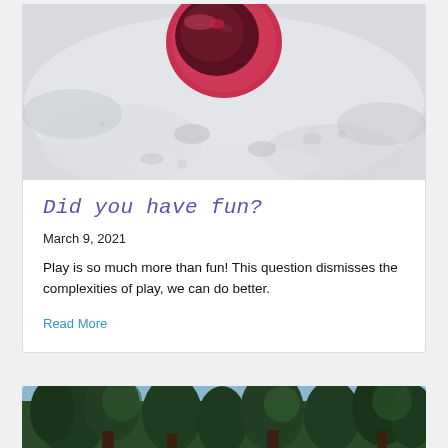[Figure (photo): Top-down view of a red bucket/container in snow, surrounded by snowy ground with various textures and shadows]
Did you have fun?
March 9, 2021
Play is so much more than fun! This question dismisses the complexities of play, we can do better.
Read More
[Figure (photo): Forest scene with tall evergreen trees, green foliage visible at bottom of page]